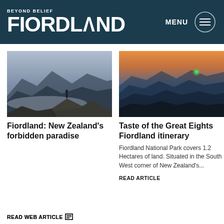BEYOND BELIEF FIORDLAND — MENU
[Figure (photo): Person standing on rocky mountain top with misty fjord view below, blue-grey tones]
Fiordland: New Zealand's forbidden paradise
READ WEB ARTICLE
[Figure (photo): Mountain range at sunset/sunrise with warm orange sky fading to deep blue ridgelines]
Taste of the Great Eights Fiordland itinerary
Fiordland National Park covers 1.2 Hectares of land. Situated in the South West corner of New Zealand's...
READ ARTICLE